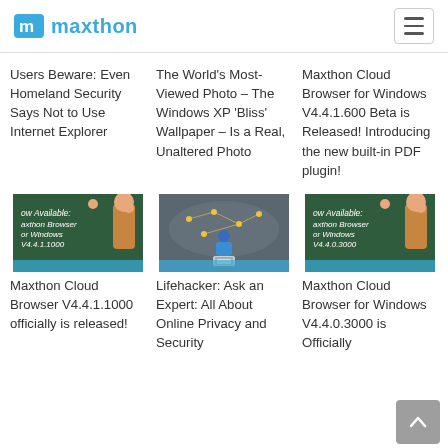maxthon
Users Beware: Even Homeland Security Says Not to Use Internet Explorer
The World's Most-Viewed Photo – The Windows XP 'Bliss' Wallpaper – Is a Real, Unaltered Photo
Maxthon Cloud Browser for Windows V4.4.1.600 Beta is Released! Introducing the new built-in PDF plugin!
[Figure (photo): Blackboard with text: Now Available: Maxthon Browser for Windows V4.4.1.1000, with thumbs up hands]
[Figure (photo): Illustration of person at laptop with world network map and shield icons]
[Figure (photo): Blackboard with text: Now Available: Maxthon Browser for Windows V4.4.0.3000, with thumbs up hands]
Maxthon Cloud Browser V4.4.1.1000 officially is released!
Lifehacker: Ask an Expert: All About Online Privacy and Security
Maxthon Cloud Browser for Windows V4.4.0.3000 is Officially